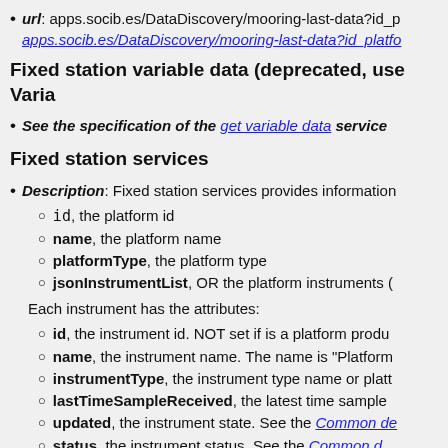url: apps.socib.es/DataDiscovery/mooring-last-data?id_p... apps.socib.es/DataDiscovery/mooring-last-data?id_platfo...
Fixed station variable data (deprecated, use Varia...
See the specification of the get variable data service...
Fixed station services
Description: Fixed station services provides information...
id, the platform id
name, the platform name
platformType, the platform type
jsonInstrumentList, OR the platform instruments (
Each instrument has the attributes:
id, the instrument id. NOT set if is a platform produ...
name, the instrument name. The name is "Platform...
instrumentType, the instrument type name or platt...
lastTimeSampleReceived, the latest time sample...
updated, the instrument state. See the Common de...
status, the instrument status. See the Common d...